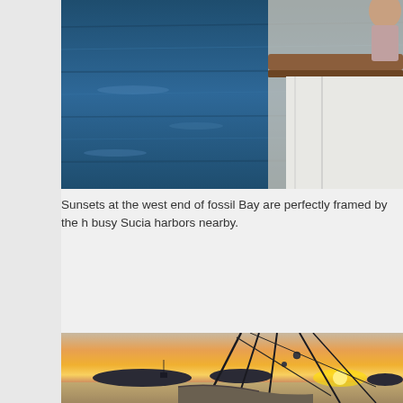[Figure (photo): Top portion of a photo showing blue water and the bow/railing of a boat with a person visible, partially cropped at top of page]
Sunsets at the west end of fossil Bay are perfectly framed by the h busy Sucia harbors nearby.
[Figure (photo): Sunset photo taken from the deck of a sailboat at Fossil Bay, showing mast rigging and lines in the foreground with a golden-orange sunset over calm water, silhouetted islands in the distance]